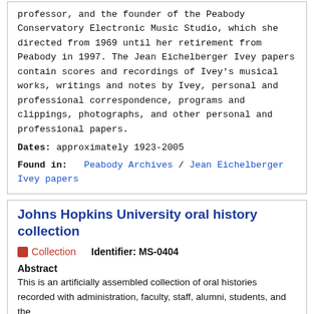professor, and the founder of the Peabody Conservatory Electronic Music Studio, which she directed from 1969 until her retirement from Peabody in 1997. The Jean Eichelberger Ivey papers contain scores and recordings of Ivey's musical works, writings and notes by Ivey, personal and professional correspondence, programs and clippings, photographs, and other personal and professional papers.
Dates: approximately 1923-2005
Found in: Peabody Archives / Jean Eichelberger Ivey papers
Johns Hopkins University oral history collection
Collection   Identifier: MS-0404
Abstract
This is an artificially assembled collection of oral histories recorded with administration, faculty, staff, alumni, students, and the